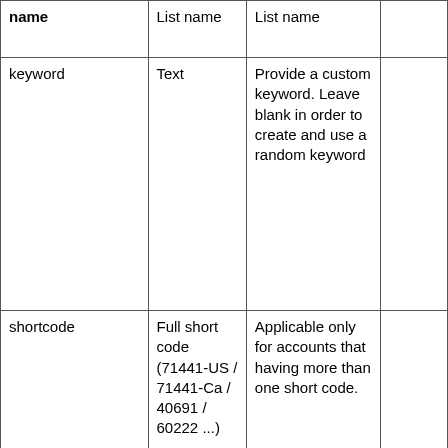| name | List name | List name |  |
| --- | --- | --- | --- |
| keyword | Text | Provide a custom keyword. Leave blank in order to create and use a random keyword |  |
| shortcode | Full short code (71441-US / 71441-Ca / 40691 / 60222 ...) | Applicable only for accounts that having more than one short code. |  |
|  |  |  |  |